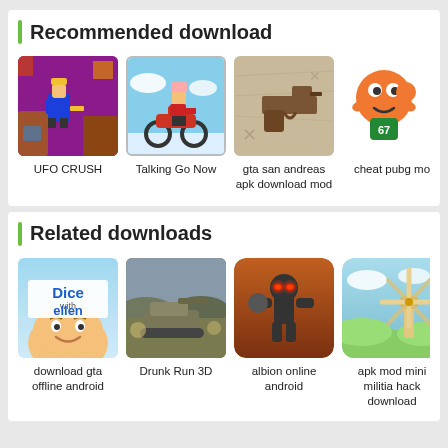Recommended download
[Figure (illustration): UFO CRUSH game thumbnail - pixel art style with blue character]
UFO CRUSH
[Figure (illustration): Talking Go Now game thumbnail - motorcycle rider roblox style]
Talking Go Now
[Figure (illustration): gta san andreas apk download mod game thumbnail - pistol on sandy background]
gta san andreas apk download mod
[Figure (illustration): cheat pubg mo thumbnail - orange round character with number 67]
cheat pubg mo
Related downloads
[Figure (illustration): download gta offline android thumbnail - Dice with Ellen show logo]
download gta offline android
[Figure (illustration): Drunk Run 3D thumbnail - tank on battlefield]
Drunk Run 3D
[Figure (illustration): albion online android thumbnail - stickman fighter with glowing eyes]
albion online android
[Figure (illustration): apk mod mini militia hack download thumbnail - windmill on green landscape]
apk mod mini militia hack download